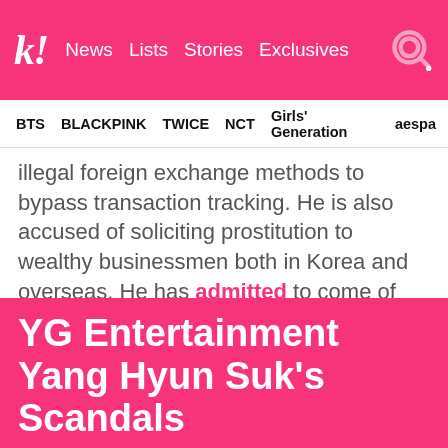k! News Lists Stories Exclusives
BTS   BLACKPINK   TWICE   NCT   Girls' Generation   aespa
illegal foreign exchange methods to bypass transaction tracking. He is also accused of soliciting prostitution to wealthy businessmen both in Korea and overseas. He has admitted to come of the gambling charges levied against him.
SOURCE
YG Entertainment Yang Hyun Suk's Scandals